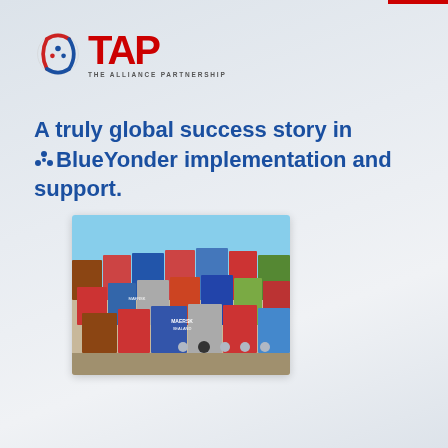[Figure (logo): TAP – The Alliance Partnership logo with globe icon and red TAP text]
A truly global success story in ❖ BlueYonder implementation and support.
[Figure (photo): Stacked shipping containers at a port, including Maersk branded containers, under a clear blue sky]